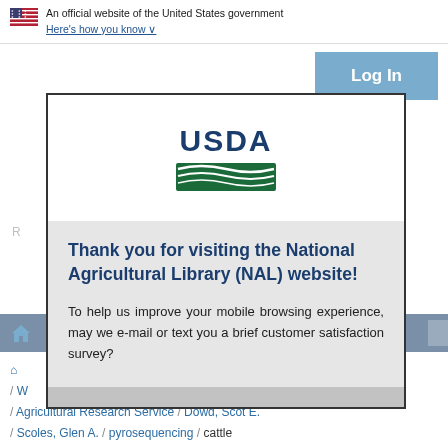An official website of the United States government Here's how you know
[Figure (screenshot): Log In button (blue/teal background, white bold text)]
[Figure (logo): USDA logo with blue text and green landscape graphic]
Thank you for visiting the National Agricultural Library (NAL) website!
To help us improve your mobile browsing experience, may we e-mail or text you a brief customer satisfaction survey?
/ Agricultural Research Service / Dowd, Scot E. / Scoles, Glen A. / pyrosequencing / cattle / Veterinary Pest Genomics Center